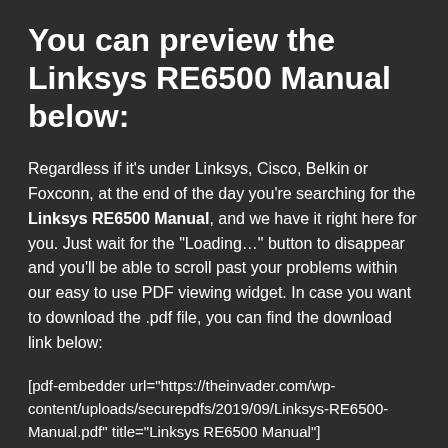You can preview the Linksys RE6500 Manual below:
Regardless if it's under Linksys, Cisco, Belkin or Foxconn, at the end of the day you're searching for the Linksys RE6500 Manual, and we have it right here for you. Just wait for the “Loading…” button to disappear and you'll be able to scroll past your problems within our easy to use PDF viewing widget. In case you want to download the .pdf file, you can find the download link below:
[pdf-embedder url="https://theinvader.com/wp-content/uploads/securepdfs/2019/09/Linksys-RE6500-Manual.pdf" title="Linksys RE6500 Manual"]